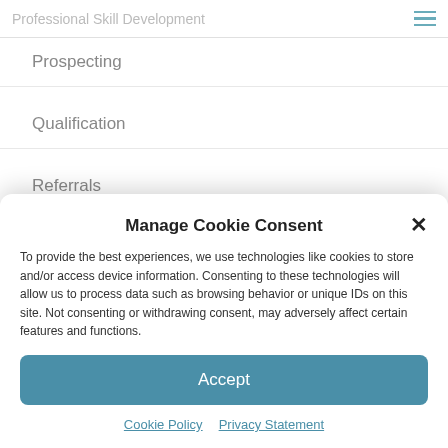Professional Skill Development
Prospecting
Qualification
Referrals
Sales Leadership & Management
Sales Motiviation
Manage Cookie Consent
To provide the best experiences, we use technologies like cookies to store and/or access device information. Consenting to these technologies will allow us to process data such as browsing behavior or unique IDs on this site. Not consenting or withdrawing consent, may adversely affect certain features and functions.
Accept
Cookie Policy  Privacy Statement